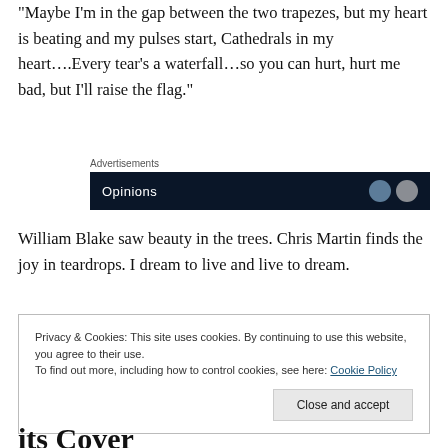“Maybe I’m in the gap between the two trapezes, but my heart is beating and my pulses start, Cathedrals in my heart….Every tear’s a waterfall…so you can hurt, hurt me bad, but I’ll raise the flag.”
[Figure (other): Advertisement banner with dark navy background showing partial text 'Opinions' and circular icons]
William Blake saw beauty in the trees. Chris Martin finds the joy in teardrops. I dream to live and live to dream.
Privacy & Cookies: This site uses cookies. By continuing to use this website, you agree to their use.
To find out more, including how to control cookies, see here: Cookie Policy
its Cover